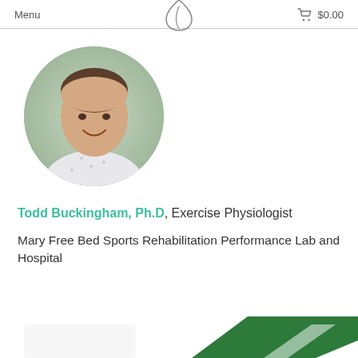Menu  $0.00
[Figure (photo): Circular cropped headshot photo of a young man smiling, wearing a white patterned shirt, with a blurred outdoor background]
Todd Buckingham, Ph.D, Exercise Physiologist
Mary Free Bed Sports Rehabilitation Performance Lab and Hospital
[Figure (photo): Partial view of green and white graphic/logo at the bottom of the page]